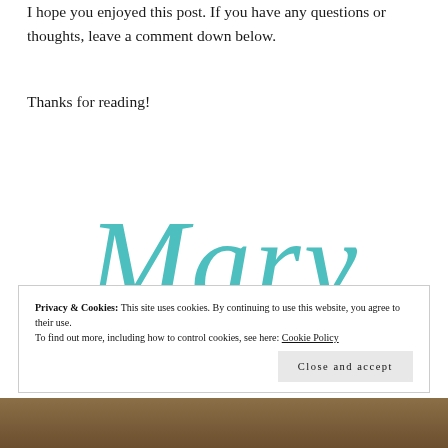I hope you enjoyed this post. If you have any questions or thoughts, leave a comment down below.
Thanks for reading!
[Figure (illustration): Handwritten cursive signature 'Mary' in teal/turquoise color]
Privacy & Cookies: This site uses cookies. By continuing to use this website, you agree to their use.
To find out more, including how to control cookies, see here: Cookie Policy
[Figure (photo): Partial image of a wooden surface visible at the bottom of the page]